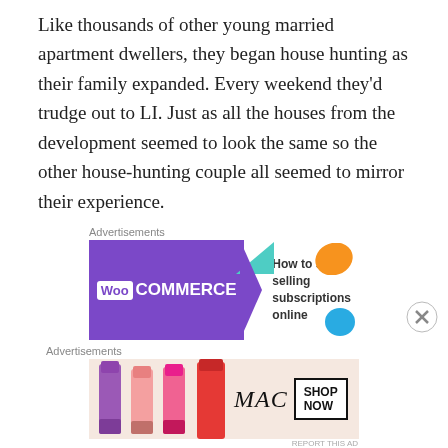Like thousands of other young married apartment dwellers, they began house hunting as their family expanded. Every weekend they'd trudge out to LI. Just as all the houses from the development seemed to look the same so the other house-hunting couple all seemed to mirror their experience.
[Figure (other): WooCommerce advertisement banner: purple background with WooCommerce logo on left, green arrow shape, orange and blue blob shapes on right side, text 'How to start selling subscriptions online']
Now as I stood inside that large walk-in closet he had viewed decades earlier, I imagined the thrill this young man who had shared a small Astoria apartment bedroom with his younger brother Sandy must have experienced
[Figure (other): MAC cosmetics advertisement banner showing lipsticks in purple, pink, and red shades, MAC logo, and 'SHOP NOW' button]